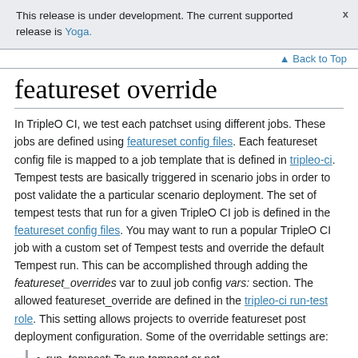This release is under development. The current supported release is Yoga.
featureset override
In TripleO CI, we test each patchset using different jobs. These jobs are defined using featureset config files. Each featureset config file is mapped to a job template that is defined in tripleo-ci. Tempest tests are basically triggered in scenario jobs in order to post validate the a particular scenario deployment. The set of tempest tests that run for a given TripleO CI job is defined in the featureset config files. You may want to run a popular TripleO CI job with a custom set of Tempest tests and override the default Tempest run. This can be accomplished through adding the featureset_overrides var to zuul job config vars: section. The allowed featureset_override are defined in the tripleo-ci run-test role. This setting allows projects to override featureset post deployment configuration. Some of the overridable settings are:
run_tempest: To run tempest or not